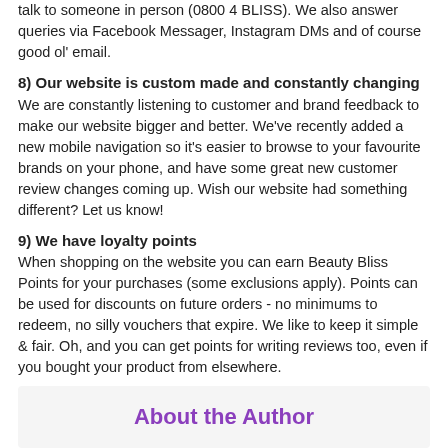talk to someone in person (0800 4 BLISS). We also answer queries via Facebook Messager, Instagram DMs and of course good ol' email.
8) Our website is custom made and constantly changing
We are constantly listening to customer and brand feedback to make our website bigger and better. We've recently added a new mobile navigation so it's easier to browse to your favourite brands on your phone, and have some great new customer review changes coming up. Wish our website had something different? Let us know!
9) We have loyalty points
When shopping on the website you can earn Beauty Bliss Points for your purchases (some exclusions apply). Points can be used for discounts on future orders - no minimums to redeem, no silly vouchers that expire. We like to keep it simple & fair. Oh, and you can get points for writing reviews too, even if you bought your product from elsewhere.
10) We have free shipping for orders over $60
Everyone loves free shipping! Spend $60 and we'll ship using the Courier Post overnight service NZ-wide - including Rural. We'll do signature required if requested too :) For Australian orders we'll ship using NZ Post.
About the Author